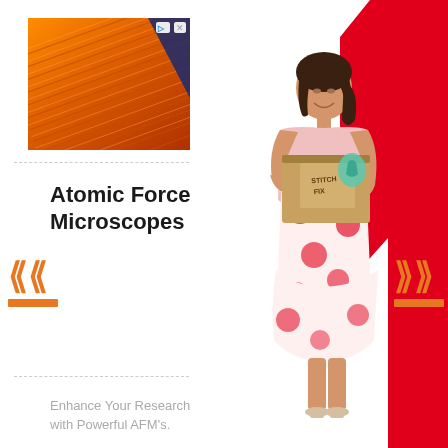[Figure (photo): AFM microscope image showing atomic force microscopy surface scan with orange/gold colored surface texture and diagonal lines]
Atomic Force Microscopes
Enhance Your Research with Powerful AFM's.
[Figure (photo): Fashion advertisement showing a smiling young woman in a white and red floral dress holding a Stitch Fix delivery box, posed against a white and red geometric background]